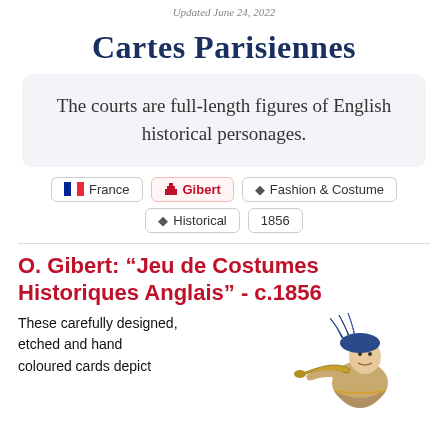Updated June 24, 2022
Cartes Parisiennes
The courts are full-length figures of English historical personages.
France
Gibert
Fashion & Costume
Historical
1856
O. Gibert: “Jeu de Costumes Historiques Anglais” - c.1856
These carefully designed, etched and hand coloured cards depict
[Figure (illustration): Illustration of a historical figure in costume, appearing to be a jester or court figure with blue feathered hat, blowing a horn, from the Jeu de Costumes Historiques Anglais card deck.]